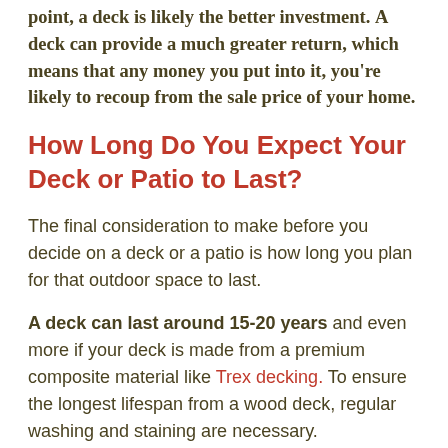point, a deck is likely the better investment. A deck can provide a much greater return, which means that any money you put into it, you're likely to recoup from the sale price of your home.
How Long Do You Expect Your Deck or Patio to Last?
The final consideration to make before you decide on a deck or a patio is how long you plan for that outdoor space to last.
A deck can last around 15-20 years and even more if your deck is made from a premium composite material like Trex decking. To ensure the longest lifespan from a wood deck, regular washing and staining are necessary.
A patio can last for 25 years or more when